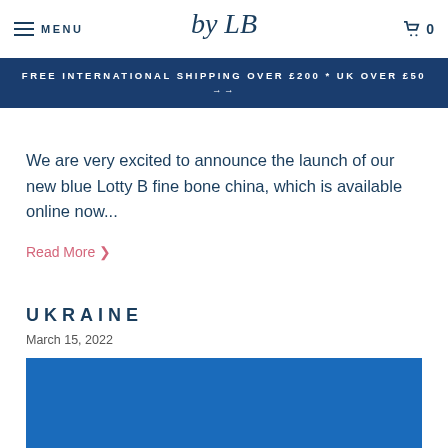MENU | by LB logo | cart 0
FREE INTERNATIONAL SHIPPING OVER £200 * UK OVER £50 →
We are very excited to announce the launch of our new blue Lotty B fine bone china, which is available online now...
Read More >
UKRAINE
March 15, 2022
[Figure (photo): Blue rectangle image placeholder for Ukraine article]